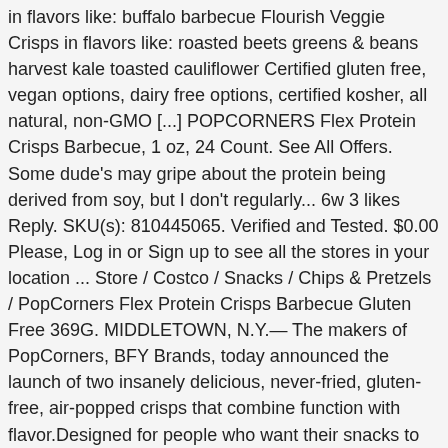in flavors like: buffalo barbecue Flourish Veggie Crisps in flavors like: roasted beets greens & beans harvest kale toasted cauliflower Certified gluten free, vegan options, dairy free options, certified kosher, all natural, non-GMO [...] POPCORNERS Flex Protein Crisps Barbecue, 1 oz, 24 Count. See All Offers. Some dude's may gripe about the protein being derived from soy, but I don't regularly... 6w 3 likes Reply. SKU(s): 810445065. Verified and Tested. $0.00 Please, Log in or Sign up to see all the stores in your location ... Store / Costco / Snacks / Chips & Pretzels / PopCorners Flex Protein Crisps Barbecue Gluten Free 369G. MIDDLETOWN, N.Y.— The makers of PopCorners, BFY Brands, today announced the launch of two insanely delicious, never-fried, gluten-free, air-popped crisps that combine function with flavor.Designed for people who want their snacks to work as hard as they do, PopCorners Flex Protein Crisps pack a whopping 10 g of protein per serving and are available in bold flavors including Buffalo and Barbeque. Check Current Price of Protein Crisps. Costco . 5.00 OZ. 50% OFF. 10% OFF. Popcorners is launching the Farm2Future program to educate the